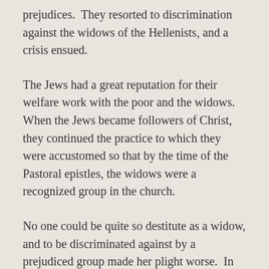prejudices.  They resorted to discrimination against the widows of the Hellenists, and a crisis ensued.
The Jews had a great reputation for their welfare work with the poor and the widows.  When the Jews became followers of Christ, they continued the practice to which they were accustomed so that by the time of the Pastoral epistles, the widows were a recognized group in the church.
No one could be quite so destitute as a widow, and to be discriminated against by a prejudiced group made her plight worse.  In order to remedy the situation, the twelve apostles